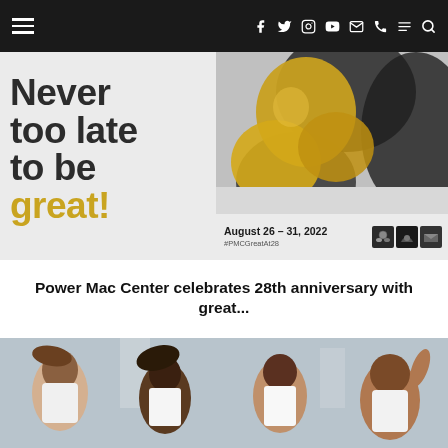Navigation bar with hamburger menu, social icons (Facebook, Twitter, Instagram, YouTube, Email, Viber), menu icon, and search icon
[Figure (illustration): Power Mac Center 28th anniversary promotional banner. Left side: large text 'Never too late to be great!' with 'great!' in gold/yellow. Right side: close-up photo of yellow/gold flower petals on grey background. Bottom-right: 'August 26-31, 2022' and '#PMCGreatAt28' with decorative stamp icons.]
Power Mac Center celebrates 28th anniversary with great...
[Figure (photo): Photo of four people (dancers/models) in white tank tops against a light grey sky with buildings in background. People appear to be in motion with hair and arms moving.]